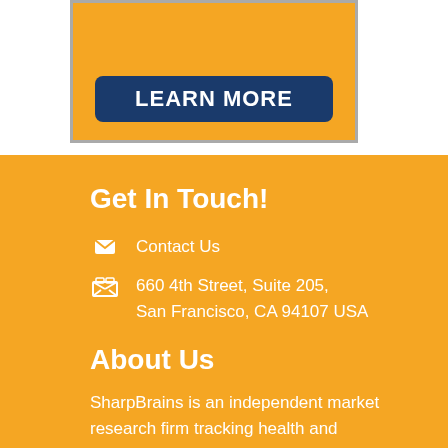[Figure (illustration): Advertisement banner with orange background and a dark navy blue 'LEARN MORE' button at the bottom center]
Get In Touch!
Contact Us
660 4th Street, Suite 205, San Francisco, CA 94107 USA
About Us
SharpBrains is an independent market research firm tracking health and performance applications